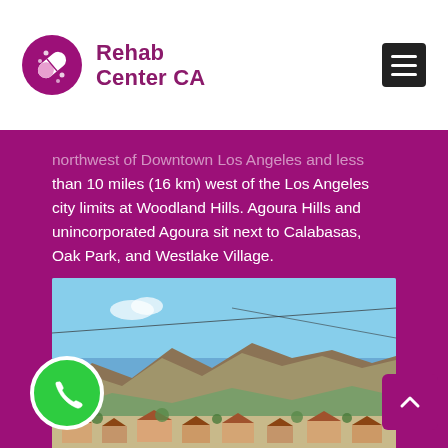Rehab Center CA
northwest of Downtown Los Angeles and less than 10 miles (16 km) west of the Los Angeles city limits at Woodland Hills. Agoura Hills and unincorporated Agoura sit next to Calabasas, Oak Park, and Westlake Village.
[Figure (photo): Aerial/elevated view of Agoura Hills suburban neighborhood with mountains in background and blue sky]